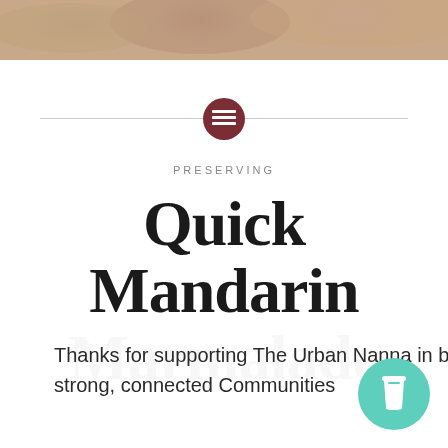[Figure (photo): Top portion of a person's face (forehead/skin tone) as a cropped photo background]
[Figure (illustration): Dark red/maroon circle with white menu/list icon in the center, positioned on a horizontal divider line]
PRESERVING
Quick Mandarin Marmalade
Thanks for supporting The Urban Nanna in building strong, connected Communities
[Figure (illustration): Teal/mint circle with a white takeaway coffee cup icon]